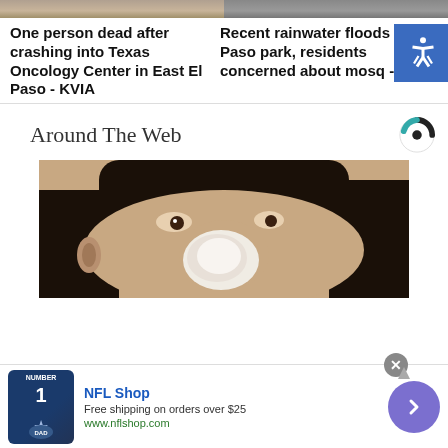[Figure (photo): Top banner image split in two halves - left shows outdoor/nature scene, right shows darker scene]
One person dead after crashing into Texas Oncology Center in East El Paso - KVIA
Recent rainwater floods El Paso park, residents concerned about mosqu - KVIA
Around The Web
[Figure (photo): Close-up photo of a person's face with white substance/cream on nose area]
[Figure (photo): NFL Shop advertisement banner showing a Dallas Cowboys jersey with text: NFL Shop, Free shipping on orders over $25, www.nflshop.com]